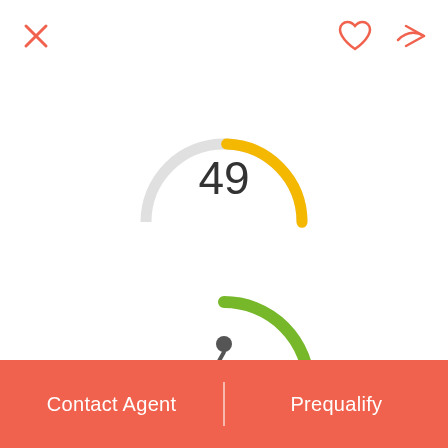[Figure (other): Close (X) button icon in top left, coral/red color]
[Figure (other): Heart (favorite) icon top right, coral/red color]
[Figure (other): Share/forward icon top right, coral/red color]
[Figure (donut-chart): Circular donut gauge, partially visible at top, showing score 49 with orange/yellow arc]
[Figure (donut-chart): Circular donut gauge showing bike score 56 with green arc and bicycle icon]
Contact Agent  |  Prequalify